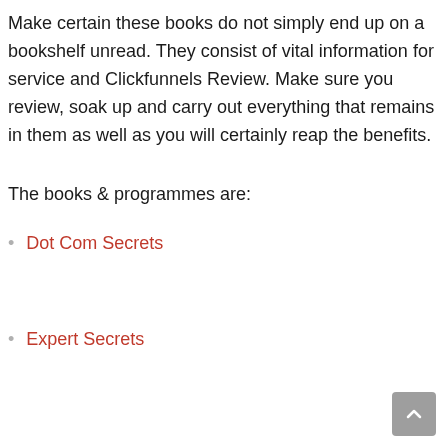Make certain these books do not simply end up on a bookshelf unread. They consist of vital information for service and Clickfunnels Review. Make sure you review, soak up and carry out everything that remains in them as well as you will certainly reap the benefits.
The books & programmes are:
Dot Com Secrets
Expert Secrets